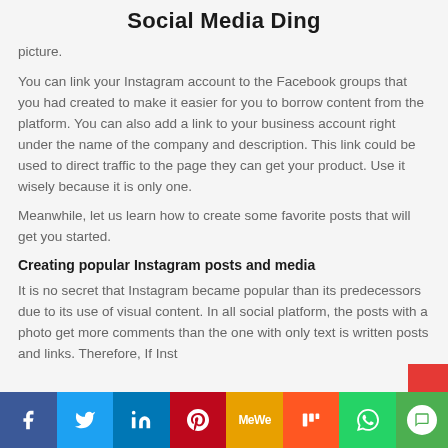Social Media Ding
picture.
You can link your Instagram account to the Facebook groups that you had created to make it easier for you to borrow content from the platform. You can also add a link to your business account right under the name of the company and description. This link could be used to direct traffic to the page they can get your product. Use it wisely because it is only one.
Meanwhile, let us learn how to create some favorite posts that will get you started.
Creating popular Instagram posts and media
It is no secret that Instagram became popular than its predecessors due to its use of visual content. In all social platform, the posts with a photo get more comments than the one with only text is written posts and links. Therefore, If Inst
[Figure (other): Social media share bar with icons for Facebook, Twitter, LinkedIn, Pinterest, MeWe, Mix, WhatsApp, and a chat button]